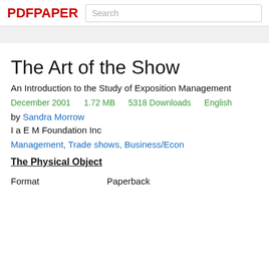PDFPAPER  Search
The Art of the Show
An Introduction to the Study of Exposition Management
December 2001    1.72 MB    5318 Downloads    English
by Sandra Morrow
I a E M Foundation Inc
Management, Trade shows, Business/Econ
The Physical Object
Format    Paperback